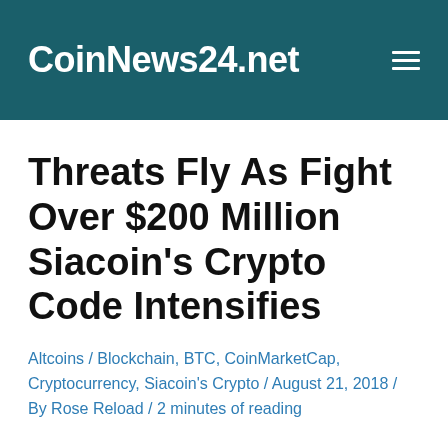CoinNews24.net
Threats Fly As Fight Over $200 Million Siacoin’s Crypto Code Intensifies
Altcoins / Blockchain, BTC, CoinMarketCap, Cryptocurrency, Siacoin’s Crypto / August 21, 2018 / By Rose Reload / 2 minutes of reading